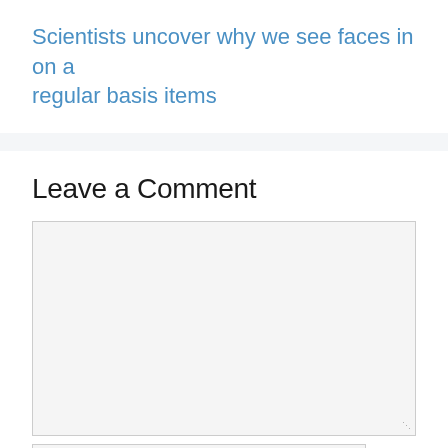Scientists uncover why we see faces in on a regular basis items
Leave a Comment
[Figure (screenshot): Empty comment text area input box with light gray background and border, with resize handle in bottom-right corner]
[Figure (screenshot): Empty single-line text input field, partially visible at bottom of page]